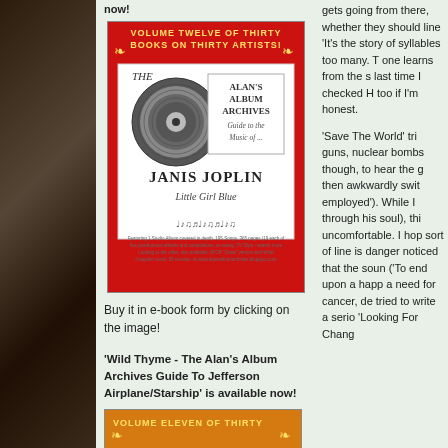[Figure (photo): Left column dark photo background, branches/bokeh]
now!
[Figure (illustration): Book cover: Alan's Album Archives, Janis Joplin, Little Girl Blue. Volume Twelve of Thirty Books on Thirty Artists. Red cover with vinyl record graphic.]
Buy it in e-book form by clicking on the image!
'Wild Thyme - The Alan's Album Archives Guide To Jefferson Airplane/Starship' is available now!
[Figure (illustration): Bottom book cover: Volume Eleven of Thirty, orange header strip]
gets going from there, whether they should line 'It's the story of syllables too many. T one learns from the s last time I checked H too if I'm honest.
'Save The World' tri guns, nuclear bombs though, to hear the g then awkwardly swit employed'). While I through his soul), thi uncomfortable. I hop sort of line is danger noticed that the soun ('To end upon a happ a need for cancer, de tried to write a serio 'Looking For Chang